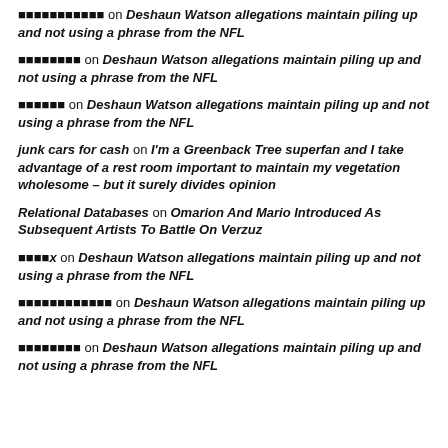■■■■■■■■■■■ on Deshaun Watson allegations maintain piling up and not using a phrase from the NFL
■■■■■■■■ on Deshaun Watson allegations maintain piling up and not using a phrase from the NFL
■■■■■■ on Deshaun Watson allegations maintain piling up and not using a phrase from the NFL
junk cars for cash on I’m a Greenback Tree superfan and I take advantage of a rest room important to maintain my vegetation wholesome – but it surely divides opinion
Relational Databases on Omarion And Mario Introduced As Subsequent Artists To Battle On Verzuz
■■■■x on Deshaun Watson allegations maintain piling up and not using a phrase from the NFL
■■■■■■■■■■■■ on Deshaun Watson allegations maintain piling up and not using a phrase from the NFL
■■■■■■■■ on Deshaun Watson allegations maintain piling up and not using a phrase from the NFL